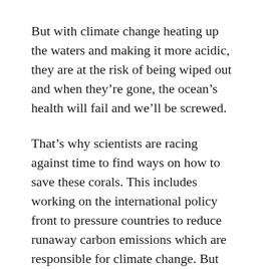But with climate change heating up the waters and making it more acidic, they are at the risk of being wiped out and when they're gone, the ocean's health will fail and we'll be screwed.
That's why scientists are racing against time to find ways on how to save these corals. This includes working on the international policy front to pressure countries to reduce runaway carbon emissions which are responsible for climate change. But current initiatives to reduce our carbon footprint are not happening fast enough so there have to be other